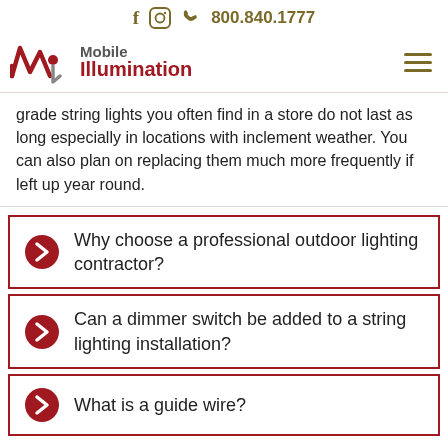f  [camera icon]  800.840.1777
[Figure (logo): Mobile Illumination logo with stylized M waveform icon and company name]
grade string lights you often find in a store do not last as long especially in locations with inclement weather. You can also plan on replacing them much more frequently if left up year round.
Why choose a professional outdoor lighting contractor?
Can a dimmer switch be added to a string lighting installation?
What is a guide wire?